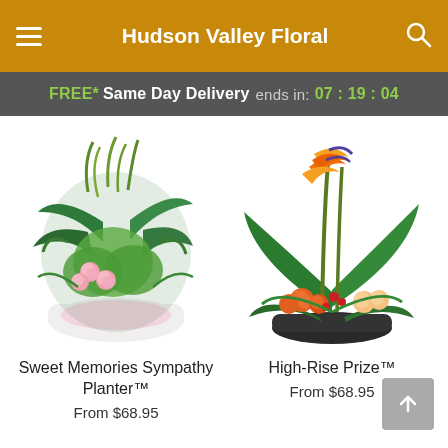Hudson Valley Floral
FREE* Same Day Delivery ends in: 07 : 19 : 04
[Figure (photo): Sweet Memories Sympathy Planter arrangement with green plants and pink roses in a white bowl with pink bow]
Sweet Memories Sympathy Planter™
From $68.95
[Figure (photo): High-Rise Prize arrangement with orange bird-of-paradise flowers, tropical leaves, and orange lilies in a dark bowl]
High-Rise Prize™
From $68.95